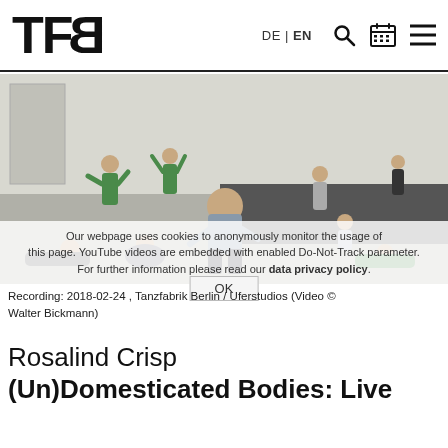TFB  DE | EN
[Figure (photo): Dance rehearsal or performance in a large studio. Multiple dancers in various poses across the floor — some standing, some on the ground lying or rolling, one central figure in a deep crouch wearing a grey top and black trousers. Two dancers in green are visible in the background.]
Recording: 2018-02-24 , Tanzfabrik Berlin / Uferstudios (Video © Walter Bickmann)
Rosalind Crisp
(Un)Domesticated Bodies: Live